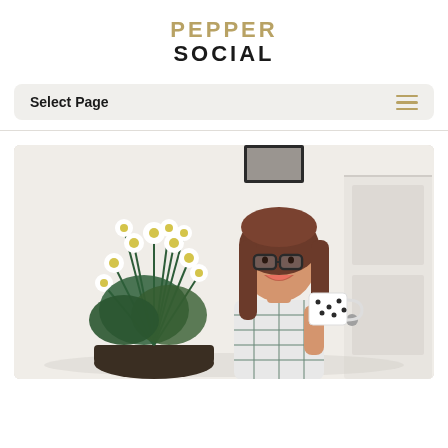PEPPER SOCIAL
Select Page
[Figure (photo): A smiling woman with long brown hair and glasses holding a polka-dot mug, seated next to a large bouquet of white daisy flowers, in a bright white room with a white door in the background.]